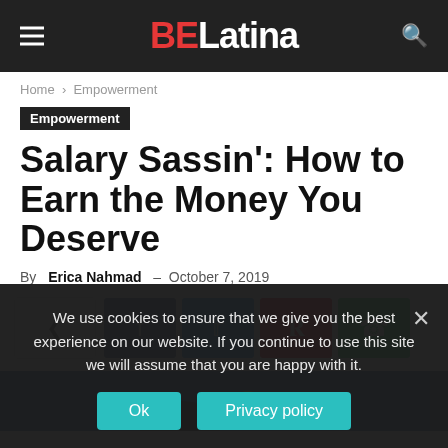BE Latina
Home › Empowerment
Empowerment
Salary Sassin': How to Earn the Money You Deserve
By Erica Nahmad - October 7, 2019
[Figure (infographic): Social share buttons: share toggle, Facebook, Twitter, Pinterest, WhatsApp]
[Figure (photo): Article header image with dark blue background, mountain silhouette and yellow sun]
We use cookies to ensure that we give you the best experience on our website. If you continue to use this site we will assume that you are happy with it.
Ok   Privacy policy